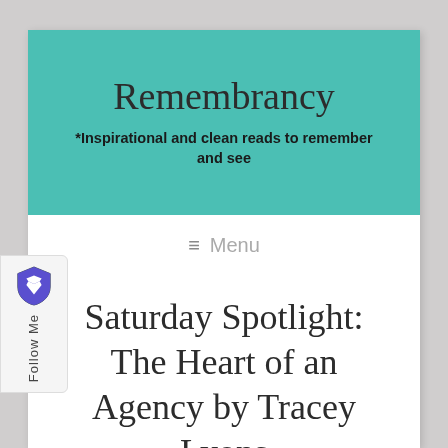Remembrancy
*Inspirational and clean reads to remember and see
≡ Menu
Saturday Spotlight: The Heart of an Agency by Tracey Lyons